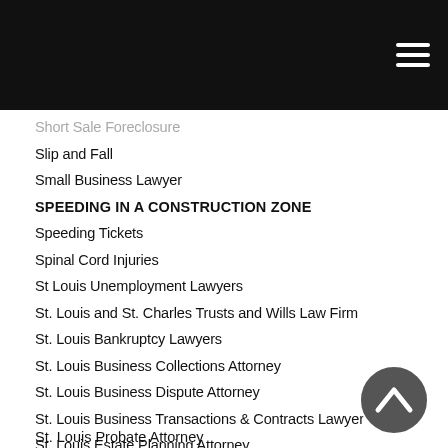Short Sale Foreclosure
Slip and Fall
Small Business Lawyer
SPEEDING IN A CONSTRUCTION ZONE
Speeding Tickets
Spinal Cord Injuries
St Louis Unemployment Lawyers
St. Louis and St. Charles Trusts and Wills Law Firm
St. Louis Bankruptcy Lawyers
St. Louis Business Collections Attorney
St. Louis Business Dispute Attorney
St. Louis Business Transactions & Contracts Lawyer
St. Louis Estate Planning Attorney
St. Louis Guardianship Attorney
St. Louis Law Firm
St. Louis Military Foreclosure Lawyer
St. Louis Probate Attorney